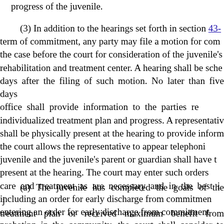progress of the juvenile.
(3) In addition to the hearings set forth in section 43- term of commitment, any party may file a motion for com the case before the court for consideration of the juvenile's rehabilitation and treatment center. A hearing shall be sche days after the filing of such motion. No later than five days office shall provide information to the parties re individualized treatment plan and progress. A representativ shall be physically present at the hearing to provide inform the court allows the representative to appear telephoni juvenile and the juvenile's parent or guardian shall have t present at the hearing. The court may enter such orders care and treatment as are necessary and in the best i including an order for early discharge from commitmen entering an order for early discharge from commitment probation in the community, the court shall consider to wha
(a) The juvenile has completed the goals of the j treatment plan or received maximum benefit from institutio